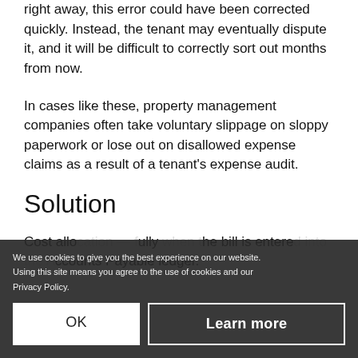property manager entered it into the system right away, this error could have been corrected quickly. Instead, the tenant may eventually dispute it, and it will be difficult to correctly sort out months from now.
In cases like these, property management companies often take voluntary slippage on sloppy paperwork or lose out on disallowed expense claims as a result of a tenant's expense audit.
Solution
Cost allo...fully...the bill is entere...Accounts Payable ledger.
We use cookies to give you the best experience on our website. Using this site means you agree to the use of cookies and our Privacy Policy.